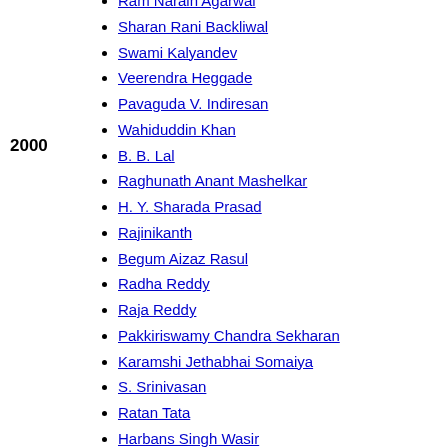Ram Narain Agarwal
Sharan Rani Backliwal
Swami Kalyandev
Veerendra Heggade
Pavaguda V. Indiresan
Wahiduddin Khan
B. B. Lal
Raghunath Anant Mashelkar
H. Y. Sharada Prasad
Rajinikanth
Begum Aizaz Rasul
Radha Reddy
Raja Reddy
Pakkiriswamy Chandra Sekharan
Karamshi Jethabhai Somaiya
S. Srinivasan
Ratan Tata
Harbans Singh Wasir
Dev Anand
Viswanathan Anand
Amitabh Bachchan
Rahul Bajaj
B. R. Barwale
Balasaheb Bharde